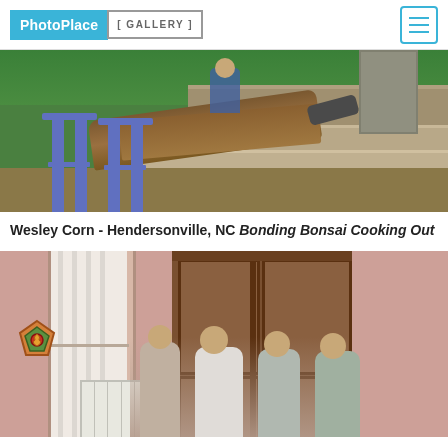PhotoPlace GALLERY
[Figure (photo): Outdoor scene with two blue bar stools in green grass and a person sitting on a wooden log pile or steps, with construction/wood materials visible]
Wesley Corn - Hendersonville, NC Bonding Bonsai Cooking Out
[Figure (photo): Indoor scene in a pink-walled room with four women posing in front of a large wooden wardrobe, a window with white curtains visible on the left, and a decorative wall ornament]